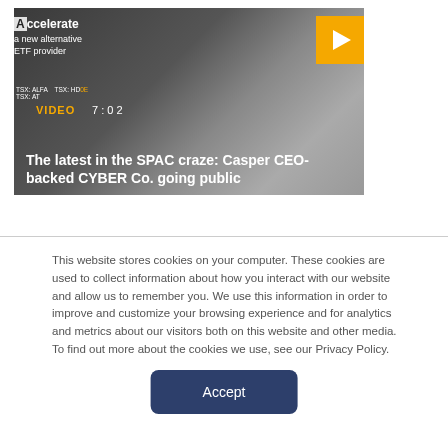[Figure (screenshot): Video thumbnail showing a man in a suit seated at a desk with text overlay. Shows 'Accelerate - new alternative ETF provider', ticker symbols TSX:ALFA, TSX:HDGE, TSX:AT, VIDEO label with timestamp 7:02, and title 'The latest in the SPAC craze: Casper CEO-backed CYBER Co. going public'. A yellow play button is visible in the top right.]
This website stores cookies on your computer. These cookies are used to collect information about how you interact with our website and allow us to remember you. We use this information in order to improve and customize your browsing experience and for analytics and metrics about our visitors both on this website and other media. To find out more about the cookies we use, see our Privacy Policy.